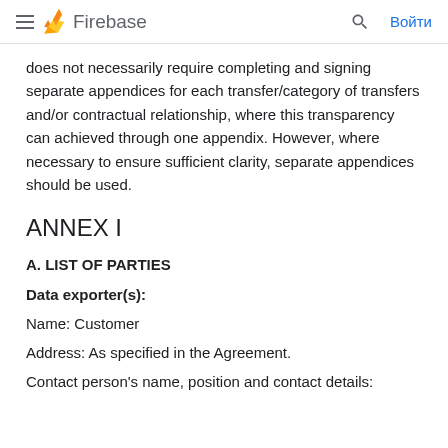Firebase
does not necessarily require completing and signing separate appendices for each transfer/category of transfers and/or contractual relationship, where this transparency can achieved through one appendix. However, where necessary to ensure sufficient clarity, separate appendices should be used.
ANNEX I
A. LIST OF PARTIES
Data exporter(s):
Name: Customer
Address: As specified in the Agreement.
Contact person's name, position and contact details: